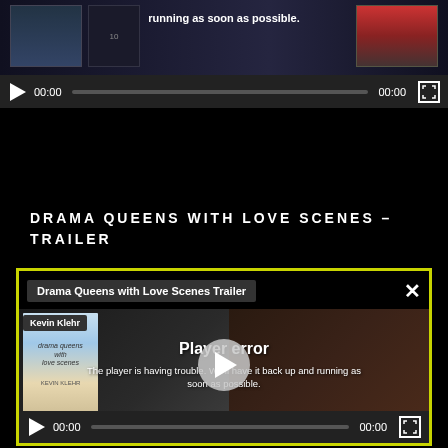[Figure (screenshot): Top portion of a video player showing error state: 'Player error - The player is having trouble. We'll have it back up and running as soon as possible.' with playback controls showing 00:00 timestamps and a progress bar.]
DRAMA QUEENS WITH LOVE SCENES – TRAILER
[Figure (screenshot): Video player embed with yellow border showing 'Drama Queens with Love Scenes Trailer' tooltip, Kevin Klehr channel label, book cover thumbnail, and Player error overlay message with play button circle. Controls show 00:00 / 00:00.]